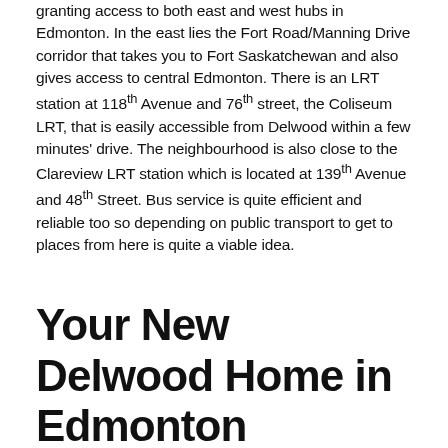granting access to both east and west hubs in Edmonton. In the east lies the Fort Road/Manning Drive corridor that takes you to Fort Saskatchewan and also gives access to central Edmonton. There is an LRT station at 118th Avenue and 76th street, the Coliseum LRT, that is easily accessible from Delwood within a few minutes' drive. The neighbourhood is also close to the Clareview LRT station which is located at 139th Avenue and 48th Street. Bus service is quite efficient and reliable too so depending on public transport to get to places from here is quite a viable idea.
Your New Delwood Home in Edmonton